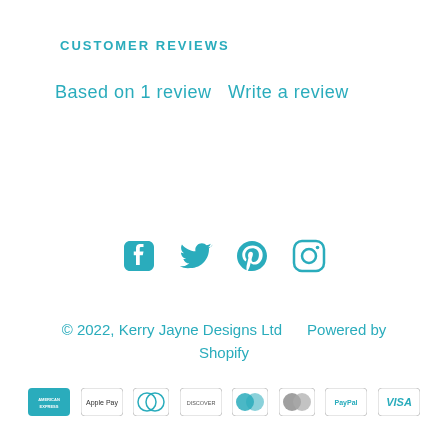CUSTOMER REVIEWS
Based on 1 review Write a review
[Figure (illustration): Social media icons: Facebook, Twitter, Pinterest, Instagram in teal color]
© 2022, Kerry Jayne Designs Ltd     Powered by Shopify
[Figure (illustration): Payment method icons: American Express, Apple Pay, Diners Club, Discover, Maestro, MasterCard, PayPal, Visa]